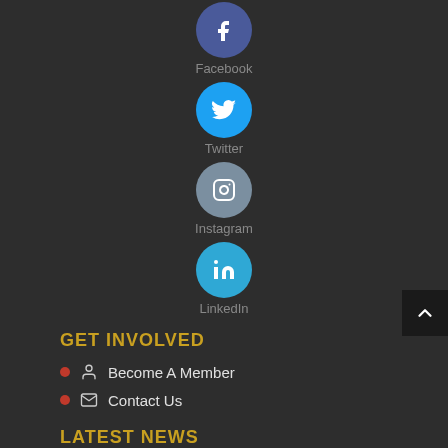[Figure (illustration): Facebook social media icon — blue circle with white 'f' letter]
Facebook
[Figure (illustration): Twitter social media icon — cyan circle with white bird]
Twitter
[Figure (illustration): Instagram social media icon — grey-blue circle with camera outline]
Instagram
[Figure (illustration): LinkedIn social media icon — blue circle with white 'in' text]
LinkedIn
GET INVOLVED
Become A Member
Contact Us
LATEST NEWS